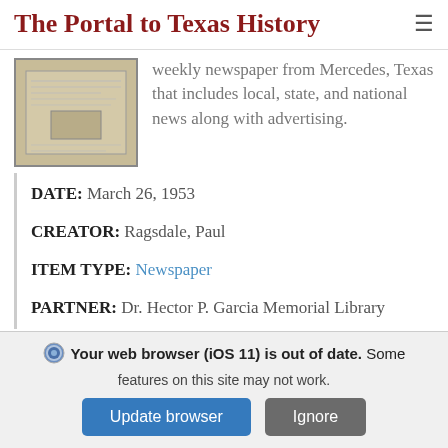The Portal to Texas History
[Figure (photo): Thumbnail of a newspaper page, sepia-toned, showing text columns and a small image]
weekly newspaper from Mercedes, Texas that includes local, state, and national news along with advertising.
DATE: March 26, 1953
CREATOR: Ragsdale, Paul
ITEM TYPE: Newspaper
PARTNER: Dr. Hector P. Garcia Memorial Library
Your web browser (iOS 11) is out of date. Some features on this site may not work.